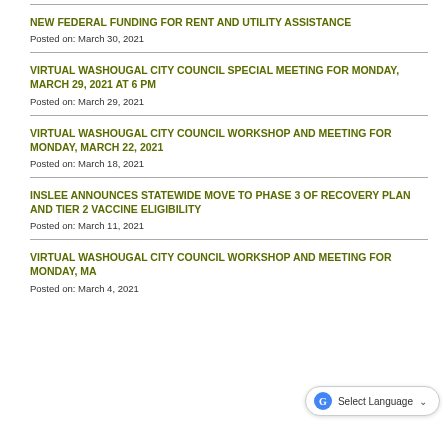NEW FEDERAL FUNDING FOR RENT AND UTILITY ASSISTANCE
Posted on: March 30, 2021
VIRTUAL WASHOUGAL CITY COUNCIL SPECIAL MEETING FOR MONDAY, MARCH 29, 2021 AT 6 PM
Posted on: March 29, 2021
VIRTUAL WASHOUGAL CITY COUNCIL WORKSHOP AND MEETING FOR MONDAY, MARCH 22, 2021
Posted on: March 18, 2021
INSLEE ANNOUNCES STATEWIDE MOVE TO PHASE 3 OF RECOVERY PLAN AND TIER 2 VACCINE ELIGIBILITY
Posted on: March 11, 2021
VIRTUAL WASHOUGAL CITY COUNCIL WORKSHOP AND MEETING FOR MONDAY, MA…
Posted on: March 4, 2021